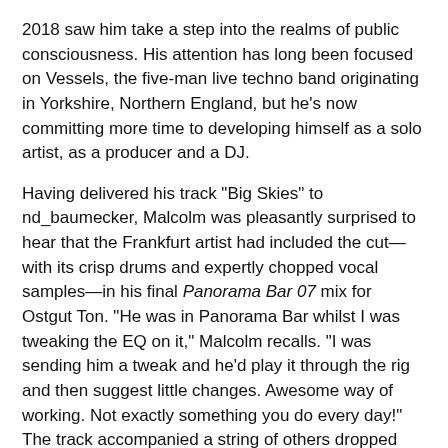2018 saw him take a step into the realms of public consciousness. His attention has long been focused on Vessels, the five-man live techno band originating in Yorkshire, Northern England, but he's now committing more time to developing himself as a solo artist, as a producer and a DJ.
Having delivered his track "Big Skies" to nd_baumecker, Malcolm was pleasantly surprised to hear that the Frankfurt artist had included the cut—with its crisp drums and expertly chopped vocal samples—in his final Panorama Bar 07 mix for Ostgut Ton. "He was in Panorama Bar whilst I was tweaking the EQ on it," Malcolm recalls. "I was sending him a tweak and he'd play it through the rig and then suggest little changes. Awesome way of working. Not exactly something you do every day!" The track accompanied a string of others dropped through Malcolm's Bandcamp page, among them "Solace," which made it into our Best Tracks of 2018 list.
Malcolm will soon return with a new single, again via